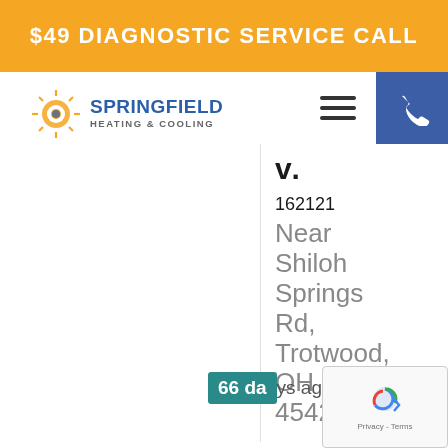$49 DIAGNOSTIC SERVICE CALL
[Figure (logo): Springfield Heating & Cooling logo with sun icon]
[Figure (other): Hamburger menu icon (three horizontal lines)]
[Figure (other): Blue phone button with white phone icon]
V.
162121 Near Shiloh Springs Rd, Trotwood, OH 45426
66 days ago
[Figure (other): reCAPTCHA overlay with Privacy - Terms text]